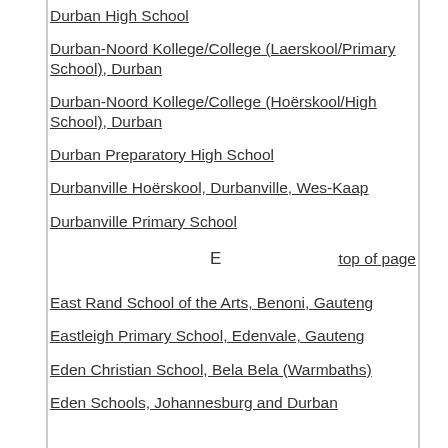Durban High School
Durban-Noord Kollege/College (Laerskool/Primary School), Durban
Durban-Noord Kollege/College (Hoërskool/High School), Durban
Durban Preparatory High School
Durbanville Hoërskool, Durbanville, Wes-Kaap
Durbanville Primary School
E
top of page
East Rand School of the Arts, Benoni, Gauteng
Eastleigh Primary School, Edenvale, Gauteng
Eden Christian School, Bela Bela (Warmbaths)
Eden Schools, Johannesburg and Durban